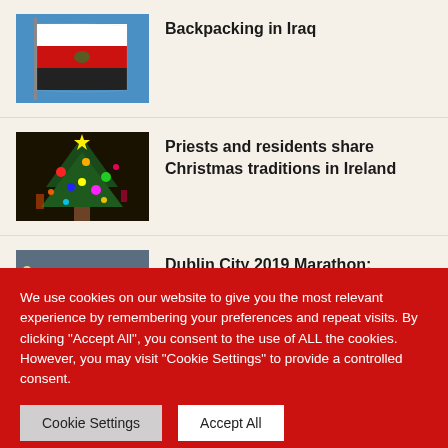[Figure (photo): Iraqi flag waving against blue sky]
Backpacking in Iraq
[Figure (photo): Colorful Christmas decorations and ornaments]
Priests and residents share Christmas traditions in Ireland
[Figure (photo): Street scene, partially visible]
Dublin City 2019 Marathon: Cheerers Admires Weather Brightness
We use cookies on our website to give you the most relevant experience by remembering your preferences and repeat visits. By clicking "Accept All", you consent to the use of ALL the cookies. However, you may visit "Cookie Settings" to provide a controlled consent.